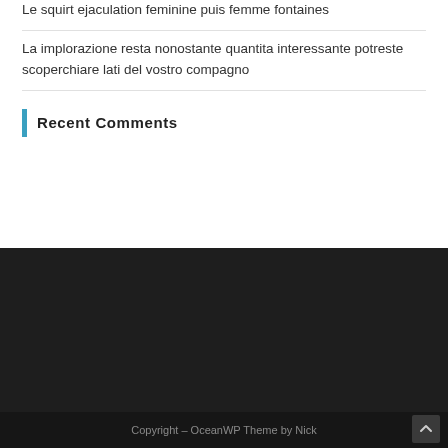Le squirt ejaculation feminine puis femme fontaines
La implorazione resta nonostante quantita interessante potreste scoperchiare lati del vostro compagno
Recent Comments
Copyright – OceanWP Theme by Nick